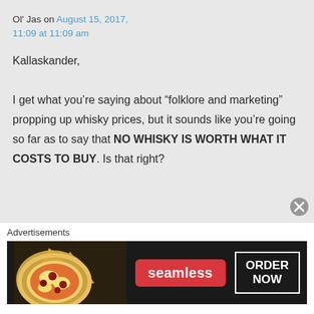Ol' Jas on August 15, 2017, 11:09 at 11:09 am
Kallaskander,
I get what you’re saying about “folklore and marketing” propping up whisky prices, but it sounds like you’re going so far as to say that NO WHISKY IS WORTH WHAT IT COSTS TO BUY. Is that right?
Advertisements
[Figure (screenshot): Seamless food delivery advertisement banner with pizza image on the left, Seamless logo in red in the center, and ORDER NOW button on the right, all on a dark background.]